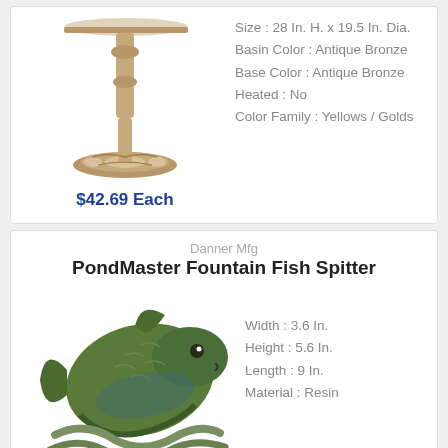[Figure (photo): Photo of an antique bronze bird bath pedestal stand]
Size : 28 In. H. x 19.5 In. Dia.
Basin Color : Antique Bronze
Base Color : Antique Bronze
Heated : No
Color Family : Yellows / Golds
$42.69 Each
Danner Mfg
PondMaster Fountain Fish Spitter
[Figure (photo): Photo of a resin fish spitter fountain decoration]
Width : 3.6 In.
Height : 5.6 In.
Length : 9 In.
Material : Resin